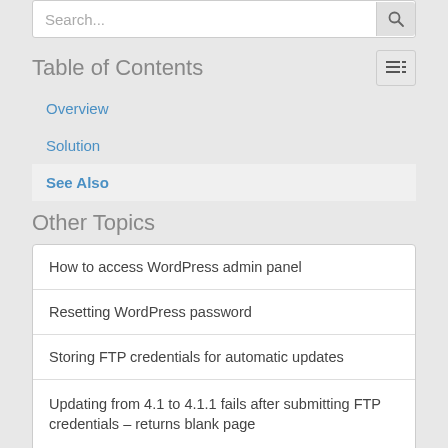Search...
Table of Contents
Overview
Solution
See Also
Other Topics
How to access WordPress admin panel
Resetting WordPress password
Storing FTP credentials for automatic updates
Updating from 4.1 to 4.1.1 fails after submitting FTP credentials – returns blank page
Installing WordPress
Adding pretty-print URLs